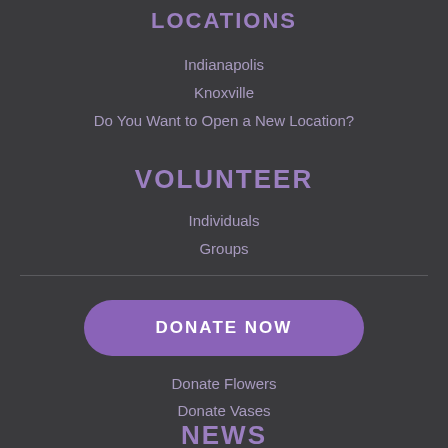LOCATIONS
Indianapolis
Knoxville
Do You Want to Open a New Location?
VOLUNTEER
Individuals
Groups
[Figure (other): Purple rounded button labeled DONATE NOW]
Donate Flowers
Donate Vases
NEWS